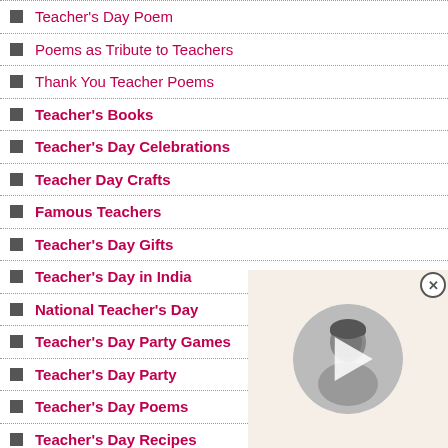Teacher's Day Poem
Poems as Tribute to Teachers
Thank You Teacher Poems
Teacher's Books
Teacher's Day Celebrations
Teacher Day Crafts
Famous Teachers
Teacher's Day Gifts
Teacher's Day in India
National Teacher's Day
Teacher's Day Party Games
Teacher's Day Party
Teacher's Day Poems
Teacher's Day Recipes
[Figure (photo): Video overlay with a black and white photo of a person, circular crop, with a play button icon. Close button (X) in top-right corner.]